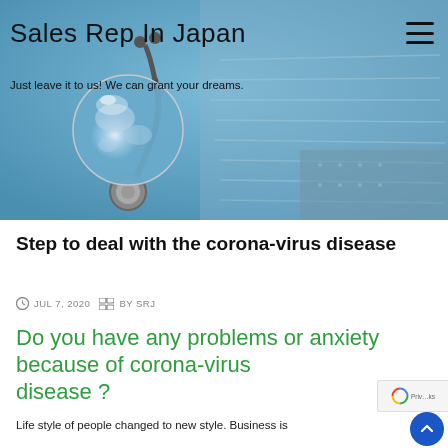[Figure (photo): Hero banner with medical/global imagery — a crystal globe on a stethoscope with blue surgical mask background, blue-toned]
Sales Rep In Japan
Just leave it to us! We can grant your dreams.
Step to deal with the corona-virus disease
JUL 7, 2020   BY SRJ
Do you have any problems or anxiety because of corona-virus disease ?
Life style of people changed to new style. Business is